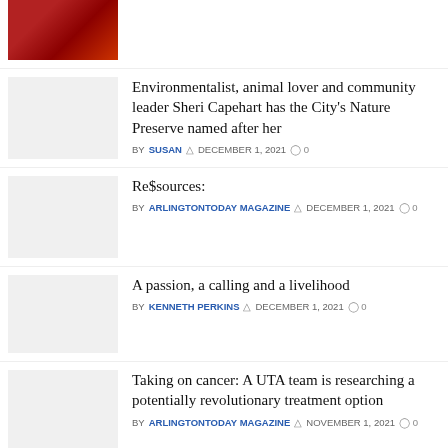[Figure (photo): Thumbnail image with red/dark tones at top of page]
Environmentalist, animal lover and community leader Sheri Capehart has the City’s Nature Preserve named after her
BY SUSAN ⊙ DECEMBER 1, 2021 ○ 0
[Figure (photo): Light gray placeholder thumbnail]
Re$sources:
BY ARLINGTONTODAY MAGAZINE ⊙ DECEMBER 1, 2021 ○ 0
[Figure (photo): Light gray placeholder thumbnail]
A passion, a calling and a livelihood
BY KENNETH PERKINS ⊙ DECEMBER 1, 2021 ○ 0
[Figure (photo): Light gray placeholder thumbnail]
Taking on cancer: A UTA team is researching a potentially revolutionary treatment option
BY ARLINGTONTODAY MAGAZINE ⊙ NOVEMBER 1, 2021 ○ 0
[Figure (photo): Light gray placeholder thumbnail]
20 years of teaching (and loving) music
BY KENNETH PERKINS ⊙ NOVEMBER 1, 2021 ○ 0